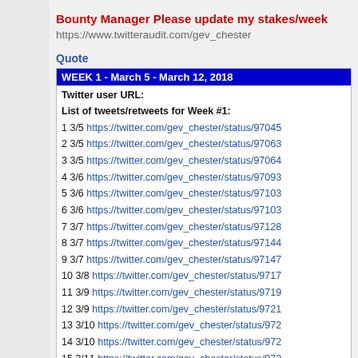Bounty Manager Please update my stakes/week
https://www.twitteraudit.com/gev_chester
Quote
WEEK 1 - March 5 - March 12, 2018
Twitter user URL:
List of tweets/retweets for Week #1:
1 3/5 https://twitter.com/gev_chester/status/97045...
2 3/5 https://twitter.com/gev_chester/status/97063...
3 3/5 https://twitter.com/gev_chester/status/97064...
4 3/6 https://twitter.com/gev_chester/status/97093...
5 3/6 https://twitter.com/gev_chester/status/97103...
6 3/6 https://twitter.com/gev_chester/status/97103...
7 3/7 https://twitter.com/gev_chester/status/97128...
8 3/7 https://twitter.com/gev_chester/status/97144...
9 3/7 https://twitter.com/gev_chester/status/97147...
10 3/8 https://twitter.com/gev_chester/status/9717...
11 3/9 https://twitter.com/gev_chester/status/9719...
12 3/9 https://twitter.com/gev_chester/status/9721...
13 3/10 https://twitter.com/gev_chester/status/972...
14 3/10 https://twitter.com/gev_chester/status/972...
15 3/11 https://twitter.com/gev_chester/status/972...
16 3/11 https://twitter.com/gev_chester/status/972...
17 3/11 https://twitter.com/gev_chester/status/972...
18 3/12 https://twitter.com/gev_chester/status/973...
19 3/12 https://twitter.com/gev_chester/status/973...
20 3/12 https://twitter.com/gev_chester/status/973...